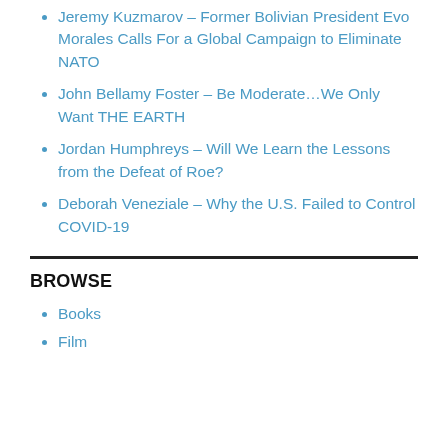Jeremy Kuzmarov – Former Bolivian President Evo Morales Calls For a Global Campaign to Eliminate NATO
John Bellamy Foster – Be Moderate…We Only Want THE EARTH
Jordan Humphreys – Will We Learn the Lessons from the Defeat of Roe?
Deborah Veneziale – Why the U.S. Failed to Control COVID-19
BROWSE
Books
Film